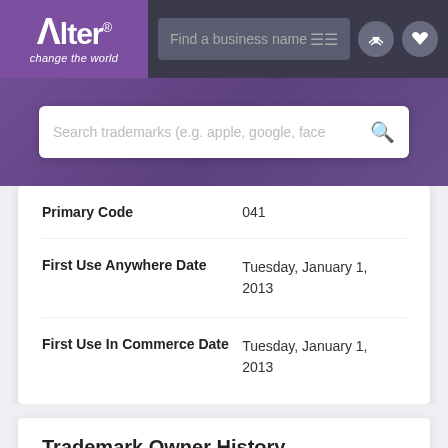[Figure (logo): Alter logo with tagline 'change the world' on purple background]
| Field | Value |
| --- | --- |
| Primary Code | 041 |
| First Use Anywhere Date | Tuesday, January 1, 2013 |
| First Use In Commerce Date | Tuesday, January 1, 2013 |
Trademark Owner History